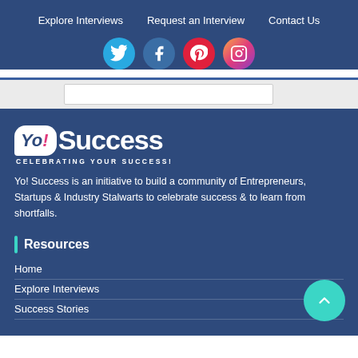Explore Interviews | Request an Interview | Contact Us
[Figure (illustration): Social media icons: Twitter (blue), Facebook (dark blue), Pinterest (red), Instagram (gradient purple-orange), all circular]
[Figure (illustration): Search bar area with white input box]
[Figure (logo): Yo! Success logo - white speech bubble with 'Yo!' in dark blue and pink, 'Success' in white bold text, tagline 'CELEBRATING YOUR SUCCESS!' beneath]
Yo! Success is an initiative to build a community of Entrepreneurs, Startups & Industry Stalwarts to celebrate success & to learn from shortfalls.
Resources
Home
Explore Interviews
Success Stories